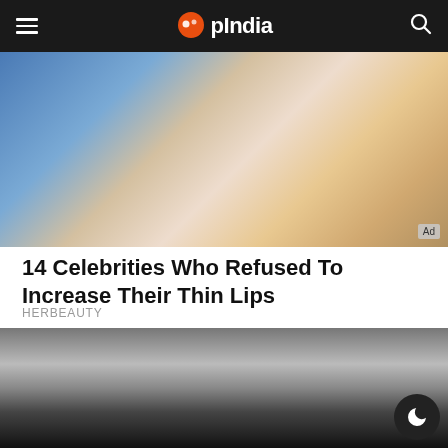OpIndia
[Figure (photo): Close-up photo of a blonde woman with mouth open, blue background. Ad badge visible in bottom-right corner.]
14 Celebrities Who Refused To Increase Their Thin Lips
HERBEAUTY
[Figure (photo): Photo of a young man with hands pressed together in a prayer gesture, surrounded by photographers/paparazzi in the background. Dark mode button visible in bottom-right.]